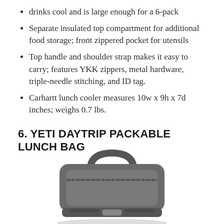drinks cool and is large enough for a 6-pack
Separate insulated top compartment for additional food storage; front zippered pocket for utensils
Top handle and shoulder strap makes it easy to carry; features YKK zippers, metal hardware, triple-needle stitching, and ID tag.
Carhartt lunch cooler measures 10w x 9h x 7d inches; weighs 0.7 lbs.
6. YETI DAYTRIP PACKABLE LUNCH BAG
[Figure (photo): Photo of a dark gray YETI Daytrip Packable Lunch Bag shown from the front, with a top handle and rolled/strapped bottom, photographed in black and white.]